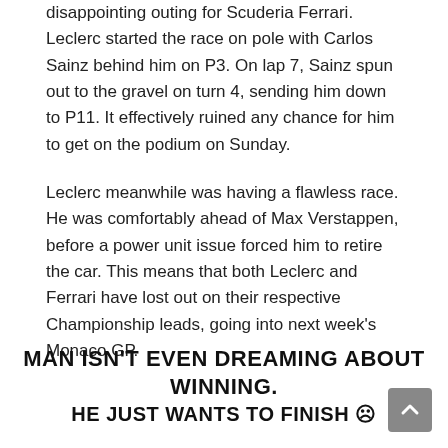disappointing outing for Scuderia Ferrari. Leclerc started the race on pole with Carlos Sainz behind him on P3. On lap 7, Sainz spun out to the gravel on turn 4, sending him down to P11. It effectively ruined any chance for him to get on the podium on Sunday.
Leclerc meanwhile was having a flawless race. He was comfortably ahead of Max Verstappen, before a power unit issue forced him to retire the car. This means that both Leclerc and Ferrari have lost out on their respective Championship leads, going into next week’s Monaco GP.
MAN ISN’T EVEN DREAMING ABOUT WINNING.
HE JUST WANTS TO FINISH 😔